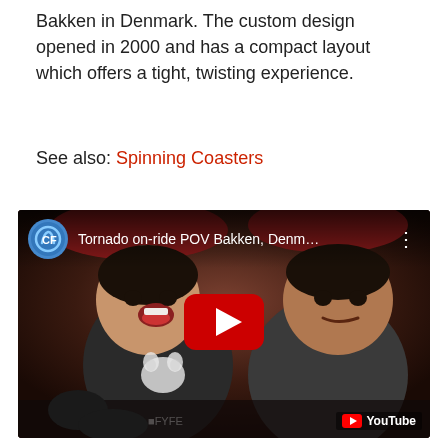Bakken in Denmark. The custom design opened in 2000 and has a compact layout which offers a tight, twisting experience.
See also: Spinning Coasters
[Figure (screenshot): YouTube video thumbnail showing two children riding a roller coaster at Bakken, Denmark. Title reads 'Tornado on-ride POV Bakken, Denm…' with a channel icon and YouTube play button overlay.]